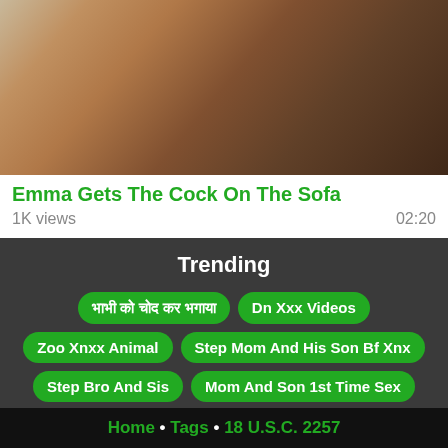[Figure (photo): Thumbnail image for an adult video]
Emma Gets The Cock On The Sofa
1K views   02:20
Trending
भाभी को चोद कर भगाया
Dn Xxx Videos
Zoo Xnxx Animal
Step Mom And His Son Bf Xnx
Step Bro And Sis
Mom And Son 1st Time Sex
भाभी देवरानी Xxx वीडियो
Share Bed For Night
Old Men
Bokepku Xxx Videos
Nf Xxx Videos
Honeywell Xxx Videos
Hd Pussy
Gujarati Audio
Nurse And Patient
Home • Tags • 18 U.S.C. 2257